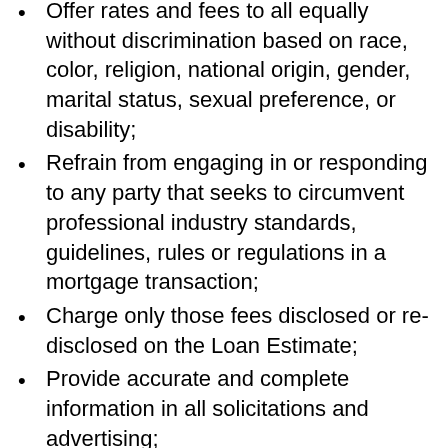Offer rates and fees to all equally without discrimination based on race, color, religion, national origin, gender, marital status, sexual preference, or disability;
Refrain from engaging in or responding to any party that seeks to circumvent professional industry standards, guidelines, rules or regulations in a mortgage transaction;
Charge only those fees disclosed or re-disclosed on the Loan Estimate;
Provide accurate and complete information in all solicitations and advertising;
Provide a written agreement, which explains the nature of the business and how I am compensated in this transaction;
Inform client of lock-in options, and provide a